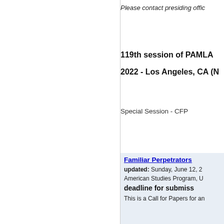Please contact presiding offic
119th session of PAMLA
2022 - Los Angeles, CA (N
Special Session - CFP
Familiar Perpetrators
updated: Sunday, June 12, 2
American Studies Program, U
deadline for submiss
This is a Call for Papers for an